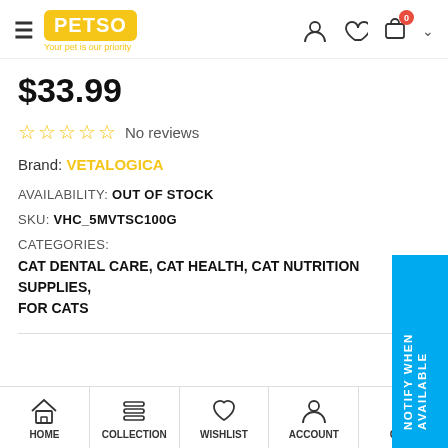PETSO — Your pet is our priority
$33.99
☆☆☆☆☆ No reviews
Brand: VETALOGICA
AVAILABILITY: OUT OF STOCK
SKU: VHC_5MVTSC100G
CATEGORIES:
CAT DENTAL CARE, CAT HEALTH, CAT NUTRITION SUPPLIES, FOR CATS
HOME | COLLECTION | WISHLIST | ACCOUNT | CART